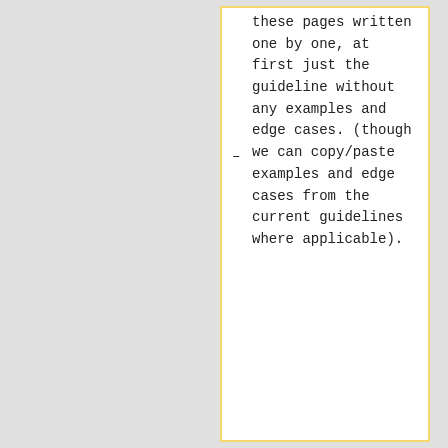these pages written one by one, at first just the guideline without any examples and edge cases. (though we can copy/paste examples and edge cases from the current guidelines where applicable).